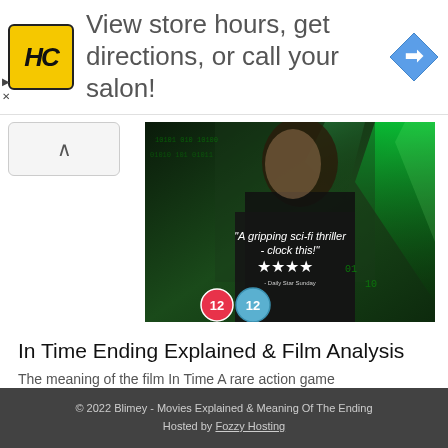[Figure (screenshot): Advertisement banner: HC salon logo, text 'View store hours, get directions, or call your salon!', blue navigation diamond icon]
[Figure (photo): Movie DVD cover image with green-tinted sci-fi thriller scene, text 'A gripping sci-fi thriller - clock this!' with 4 stars, Daily Star Sunday attribution, and two age rating badges (12)]
In Time Ending Explained & Film Analysis
The meaning of the film In Time A rare action game can boast of such a detailed
© 2022 Blimey - Movies Explained & Meaning Of The Ending
Hosted by Fozzy Hosting